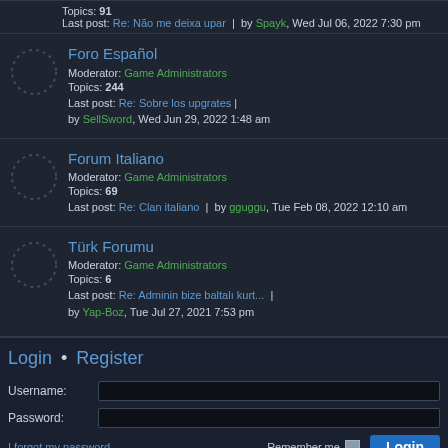Topics: 91
Last post: Re: Não me deixa upar | by Spayk, Wed Jul 06, 2022 7:30 pm
Foro Español
Moderator: Game Administrators
Topics: 244
Last post: Re: Sobre los upgrates | by SellSword, Wed Jun 29, 2022 1:48 am
Forum Italiano
Moderator: Game Administrators
Topics: 69
Last post: Re: Clan italiano | by gguggu, Tue Feb 08, 2022 12:10 am
Türk Forumu
Moderator: Game Administrators
Topics: 6
Last post: Re: Adminin bize baltalı kurt... | by Yap-Boz, Tue Jul 27, 2021 7:53 pm
Login • Register
Username:
Password:
I forgot my password  Remember me  Login